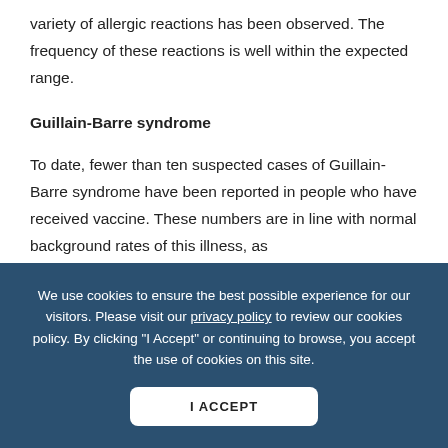variety of allergic reactions has been observed. The frequency of these reactions is well within the expected range.
Guillain-Barre syndrome
To date, fewer than ten suspected cases of Guillain-Barre syndrome have been reported in people who have received vaccine. These numbers are in line with normal background rates of this illness, as
We use cookies to ensure the best possible experience for our visitors. Please visit our privacy policy to review our cookies policy. By clicking "I Accept" or continuing to browse, you accept the use of cookies on this site.
I ACCEPT